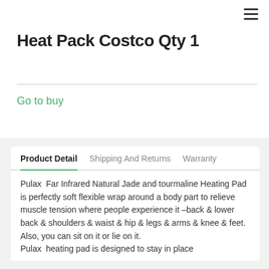Heat Pack Costco Qty 1
Inquiry   Go to buy
Product Detail   Shipping And Returns   Warranty
Pulax  Far Infrared Natural Jade and tourmaline Heating Pad is perfectly soft flexible wrap around a body part to relieve muscle tension where people experience it –back & lower back & shoulders & waist & hip & legs & arms & knee & feet. Also, you can sit on it or lie on it.
Pulax  heating pad is designed to stay in place